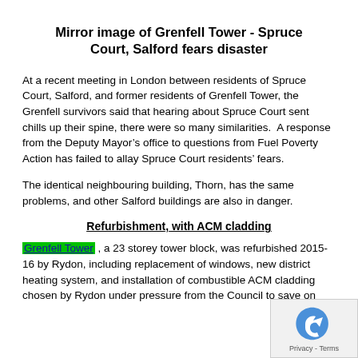Mirror image of Grenfell Tower - Spruce Court, Salford fears disaster
At a recent meeting in London between residents of Spruce Court, Salford, and former residents of Grenfell Tower, the Grenfell survivors said that hearing about Spruce Court sent chills up their spine, there were so many similarities.  A response from the Deputy Mayor’s office to questions from Fuel Poverty Action has failed to allay Spruce Court residents’ fears.
The identical neighbouring building, Thorn, has the same problems, and other Salford buildings are also in danger.
Refurbishment, with ACM cladding
Grenfell Tower , a 23 storey tower block, was refurbished 2015-16 by Rydon, including replacement of windows, new district heating system, and installation of combustible ACM cladding chosen by Rydon under pressure from the Council to save on